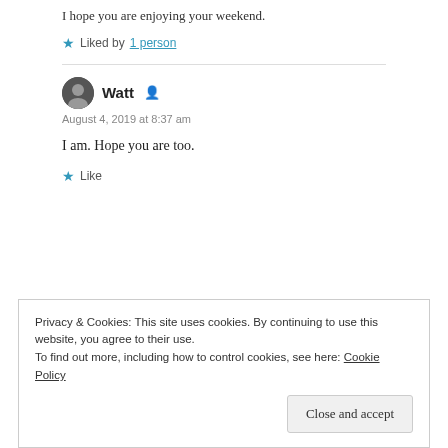I hope you are enjoying your weekend.
Liked by 1 person
Watt
August 4, 2019 at 8:37 am
I am. Hope you are too.
Like
Privacy & Cookies: This site uses cookies. By continuing to use this website, you agree to their use.
To find out more, including how to control cookies, see here: Cookie Policy
Close and accept